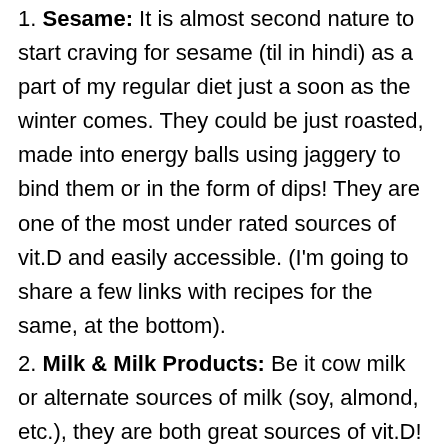1. Sesame: It is almost second nature to start craving for sesame (til in hindi) as a part of my regular diet just a soon as the winter comes. They could be just roasted, made into energy balls using jaggery to bind them or in the form of dips! They are one of the most under rated sources of vit.D and easily accessible. (I'm going to share a few links with recipes for the same, at the bottom).
2. Milk & Milk Products: Be it cow milk or alternate sources of milk (soy, almond, etc.), they are both great sources of vit.D! Cottage cheese, yoghurt and cheese also contains certain level of vitamin D. Nowadays, there is also fortified milk and milk products available at stores.
3. Mushrooms: They are a delicious source of vit.D as well as potassium. The level of the vitamin varies among the various kinds of mushrooms. Personally, I